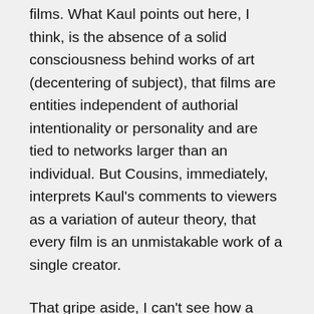films. What Kaul points out here, I think, is the absence of a solid consciousness behind works of art (decentering of subject), that films are entities independent of authorial intentionality or personality and are tied to networks larger than an individual. But Cousins, immediately, interprets Kaul's comments to viewers as a variation of auteur theory, that every film is an unmistakable work of a single creator.
That gripe aside, I can't see how a project that kept me occupied for a third of the year wouldn't make this list. Any TV series that takes cinema seriously and tries to bring into popular attention ignored works and underrated artists is worthy in my books.